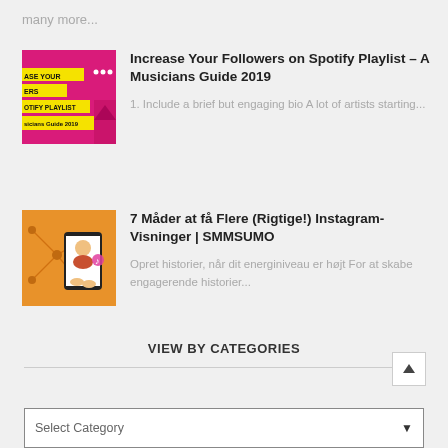many more...
[Figure (illustration): Spotify playlist guide thumbnail with pink/yellow background]
Increase Your Followers on Spotify Playlist – A Musicians Guide 2019
1. Include a brief but engaging bio A lot of artists starting...
[Figure (illustration): Instagram views guide thumbnail with orange background and person holding phone]
7 Måder at få Flere (Rigtige!) Instagram-Visninger | SMMSUMO
Opret historier, når dit energiniveau er højt For at skabe engagerende historier...
VIEW BY CATEGORIES
Select Category